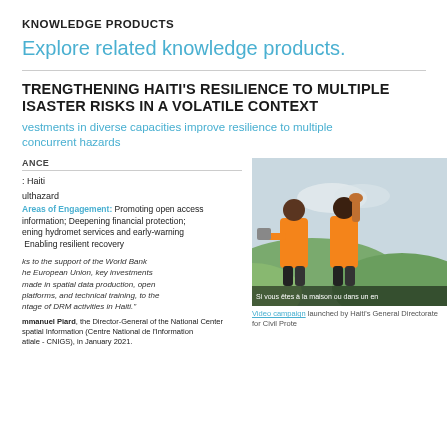KNOWLEDGE PRODUCTS
Explore related knowledge products.
STRENGTHENING HAITI'S RESILIENCE TO MULTIPLE DISASTER RISKS IN A VOLATILE CONTEXT
Investments in diverse capacities improve resilience to multiple concurrent hazards
AT A GLANCE
Country: Haiti
Hazard: Multi-hazard
Areas of Engagement: Promoting open access information; Deepening financial protection; Strengthening hydromet services and early-warning systems; Enabling resilient recovery
"Thanks to the support of the World Bank and the European Union, key investments were made in spatial data production, open platforms, and technical training, to the advantage of DRM activities in Haiti."
Immanuel Piard, the Director-General of the National Center for Geospatial Information (Centre National de l'Information Géospatiale - CNIGS), in January 2021.
[Figure (photo): Two women in orange shirts, one holding a megaphone, outdoors with hills in background. Subtitle overlay: 'Si vous êtes à la maison ou dans un en']
Video campaign launched by Haiti's General Directorate for Civil Prote